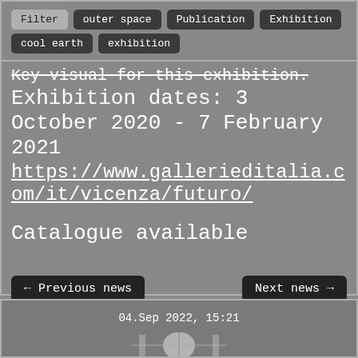Filter
outer space
Publication
Exhibition
cool earth
exhibition
Key visual for this exhibition.
Exhibition dates: 3 October 2020 - 7 February 2021
https://www.gallerieditalia.com/it/vicenza/futuro/
Catalogue available
← Previous news
Next news →
04.Sep 2022, 15:21
[Figure (photo): Bottom section showing a photo preview of an exhibition space with a large white structure visible]